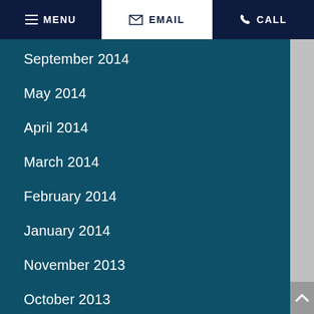MENU  EMAIL  CALL
September 2014
May 2014
April 2014
March 2014
February 2014
January 2014
November 2013
October 2013
August 2013
July 2013